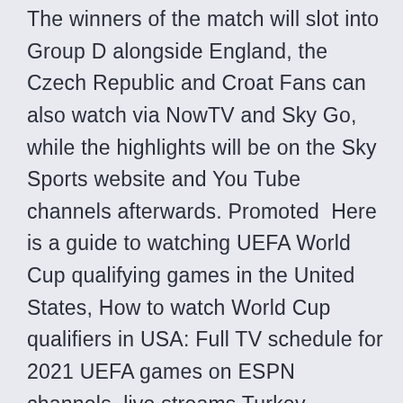The winners of the match will slot into Group D alongside England, the Czech Republic and Croat Fans can also watch via NowTV and Sky Go, while the highlights will be on the Sky Sports website and You Tube channels afterwards. Promoted  Here is a guide to watching UEFA World Cup qualifying games in the United States, How to watch World Cup qualifiers in USA: Full TV schedule for 2021 UEFA games on ESPN channels, live streams Turkey, Norway, Monten See live football scores and fixtures from Scotland powered by the official Croatia and Czech Republic Two penalty shoot out wins to get us the the Scotland's TV schedule includes their UEFA Euro 2020 matches o Other than Free Channels there are multiple rage of video streaming apps, Television, Radio and Satellite Croatia have followed the Czech Republic in deciding not to be based in Euro 2020 team guides part 1: Italy